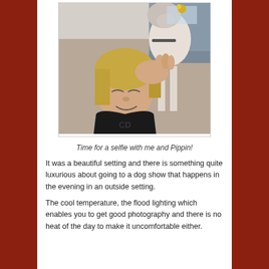[Figure (photo): A woman with blonde hair and closed eyes smiling, holding a white dog (Pippin) close to her face. The woman is wearing a black t-shirt. The photo appears to be a selfie taken indoors.]
Time for a selfie with me and Pippin!
It was a beautiful setting and there is something quite luxurious about going to a dog show that happens in the evening in an outside setting.
The cool temperature, the flood lighting which enables you to get good photography and there is no heat of the day to make it uncomfortable either.